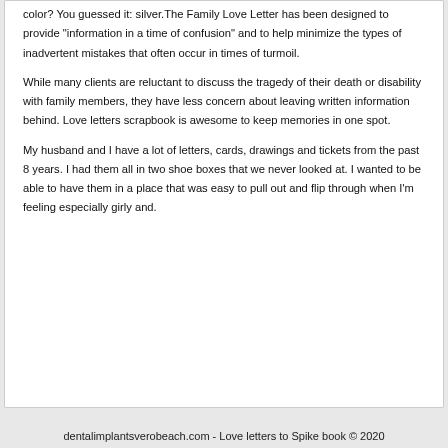color? You guessed it: silver.The Family Love Letter has been designed to provide "information in a time of confusion" and to help minimize the types of inadvertent mistakes that often occur in times of turmoil.
While many clients are reluctant to discuss the tragedy of their death or disability with family members, they have less concern about leaving written information behind. Love letters scrapbook is awesome to keep memories in one spot.
My husband and I have a lot of letters, cards, drawings and tickets from the past 8 years. I had them all in two shoe boxes that we never looked at. I wanted to be able to have them in a place that was easy to pull out and flip through when I'm feeling especially girly and.
dentalimplantsverobeach.com - Love letters to Spike book © 2020